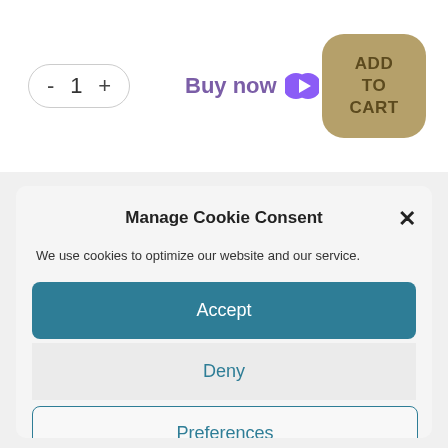[Figure (screenshot): E-commerce product page UI with quantity stepper showing minus button, 1, and plus button; a 'Buy now' link with purple arrow icon; and a tan/golden 'ADD TO CART' rounded button]
Manage Cookie Consent
We use cookies to optimize our website and our service.
Accept
Deny
Preferences